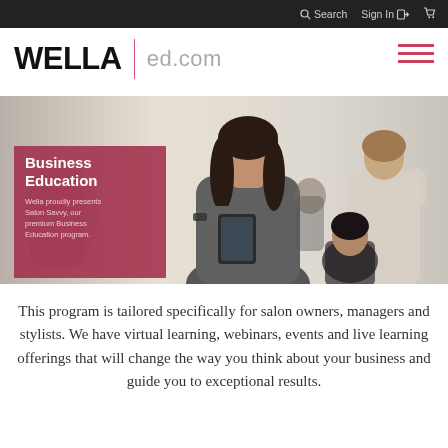Search  Sign In  [cart]
WELLA | ed.com
[Figure (photo): Salon scene with stylists working on clients; a woman in the foreground looks at a tablet. An overlay box reads: Business Education — Wella proudly presents Salon Savvy, our premium Business Education program.]
This program is tailored specifically for salon owners, managers and stylists. We have virtual learning, webinars, events and live learning offerings that will change the way you think about your business and guide you to exceptional results.